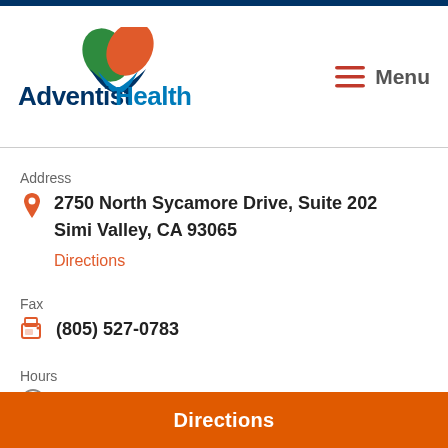[Figure (logo): Adventist Health logo with leaf icon and stylized shield]
Menu
Address
2750 North Sycamore Drive, Suite 202
Simi Valley, CA 93065
Directions
Fax
(805) 527-0783
Hours
Monday 8:30 a.m. - 5:00 p.m.
Directions